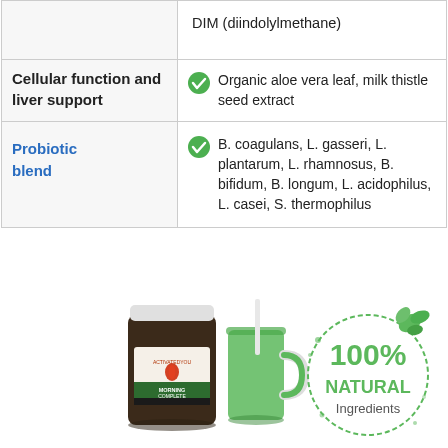|  |  |
| --- | --- |
|  | DIM (diindolylmethane) |
| Cellular function and liver support | ✔ Organic aloe vera leaf, milk thistle seed extract |
| Probiotic blend | ✔ B. coagulans, L. gasseri, L. plantarum, L. rhamnosus, B. bifidum, B. longum, L. acidophilus, L. casei, S. thermophilus |
[Figure (photo): Product photo showing ActivatedYou Morning Complete supplement jar, a green smoothie in a mason jar with straw, and a '100% Natural Ingredients' badge with green circle and leaf design.]